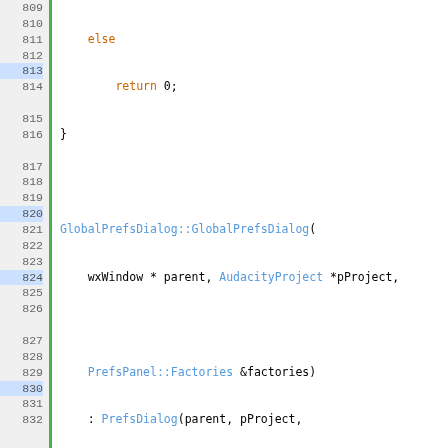[Figure (screenshot): Source code listing showing C++ code for GlobalPrefsDialog class methods including constructor, destructor, GetPreferredPage, SavePreferredPage, and beginning of PrefsDialog::RecordExpansionState. Line numbers 809-838 visible with green bar separator and syntax highlighting.]